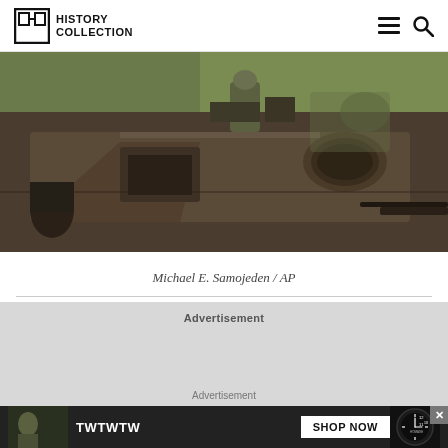HISTORY COLLECTION
[Figure (photo): Close-up aerial view of a military tank turret with a soldier visible, olive drab/brown armor plating, various equipment mounted on top, green grass visible in background]
Michael E. Samojeden / AP
Advertisement
Advertisement
[Figure (photo): Advertisement banner showing TWTWTW text with SHOP NOW button and a watch dial image, with close button X]